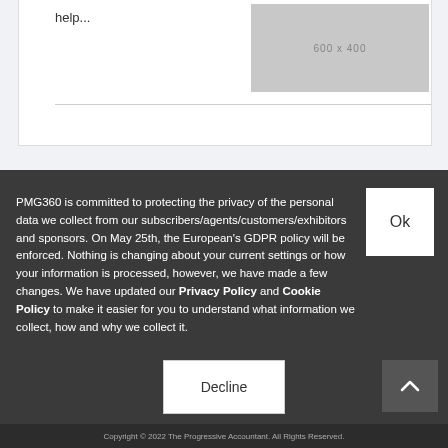help...
[Figure (other): Grey placeholder image 600x400]
PMG360 is committed to protecting the privacy of the personal data we collect from our subscribers/agents/customers/exhibitors and sponsors. On May 25th, the European's GDPR policy will be enforced. Nothing is changing about your current settings or how your information is processed, however, we have made a few changes. We have updated our Privacy Policy and Cookie Policy to make it easier for you to understand what information we collect, how and why we collect it.
Ok
Decline
Copyright © 2022 The Progressive Accountant. All Rights Reserved.